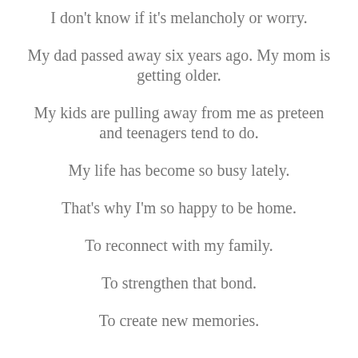I don't know if it's melancholy or worry.
My dad passed away six years ago. My mom is getting older.
My kids are pulling away from me as preteen and teenagers tend to do.
My life has become so busy lately.
That's why I'm so happy to be home.
To reconnect with my family.
To strengthen that bond.
To create new memories.